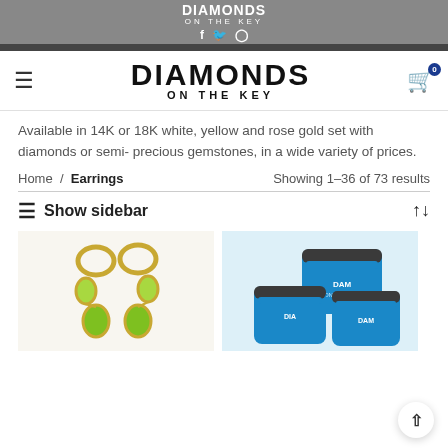DIAMONDS ON THE KEY — social icons: f, Twitter, Instagram
[Figure (logo): DIAMONDS ON THE KEY large logo with hamburger menu and shopping cart icon with badge '0']
Available in 14K or 18K white, yellow and rose gold set with diamonds or semi- precious gemstones, in a wide variety of prices.
Home / Earrings   Showing 1–36 of 73 results
≡ Show sidebar   ↑↓
[Figure (photo): Gold hoop drop earrings with green peridot gemstones]
[Figure (photo): Stacked blue tubs/containers with DIAMONDS ON THE KEY branding]